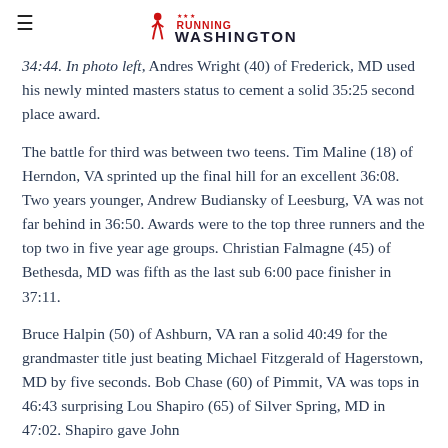Running Washington (logo)
34:44. In photo left, Andres Wright (40) of Frederick, MD used his newly minted masters status to cement a solid 35:25 second place award.
The battle for third was between two teens. Tim Maline (18) of Herndon, VA sprinted up the final hill for an excellent 36:08. Two years younger, Andrew Budiansky of Leesburg, VA was not far behind in 36:50. Awards were to the top three runners and the top two in five year age groups. Christian Falmagne (45) of Bethesda, MD was fifth as the last sub 6:00 pace finisher in 37:11.
Bruce Halpin (50) of Ashburn, VA ran a solid 40:49 for the grandmaster title just beating Michael Fitzgerald of Hagerstown, MD by five seconds. Bob Chase (60) of Pimmit, VA was tops in 46:43 surprising Lou Shapiro (65) of Silver Spring, MD in 47:02. Shapiro gave John